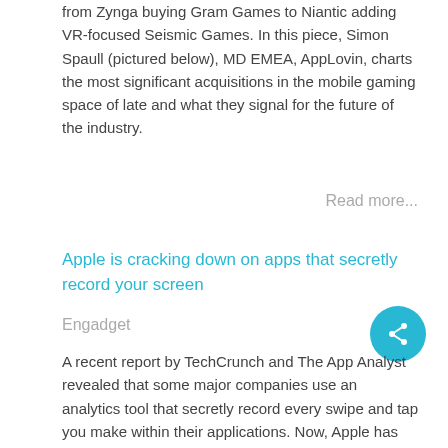from Zynga buying Gram Games to Niantic adding VR-focused Seismic Games. In this piece, Simon Spaull (pictured below), MD EMEA, AppLovin, charts the most significant acquisitions in the mobile gaming space of late and what they signal for the future of the industry.
Read more...
Apple is cracking down on apps that secretly record your screen
Engadget
A recent report by TechCrunch and The App Analyst revealed that some major companies use an analytics tool that secretly record every swipe and tap you make within their applications. Now, Apple has started telling developers to